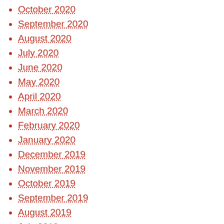October 2020
September 2020
August 2020
July 2020
June 2020
May 2020
April 2020
March 2020
February 2020
January 2020
December 2019
November 2019
October 2019
September 2019
August 2019
July 2019
June 2019
May 2019